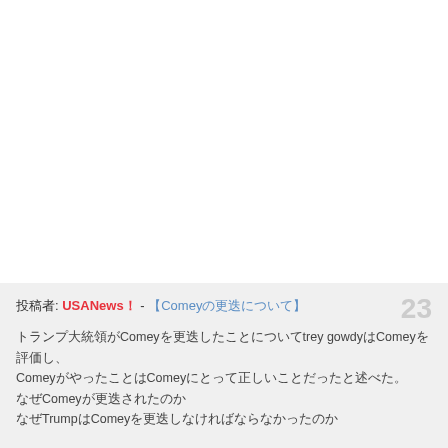d*******g
投稿数: 1265
23
投稿者: USANews！ - 【Comeyの更迭について】
トランプ大統領がComeyを更迭したことについてtrey gowdyはComeyを評価し、ComeyがやったことはComeyにとって正しいことだったと述べた。
なぜComeyが更迭されたのか
なぜTrumpはComeyを更迭しなければならなかったのか